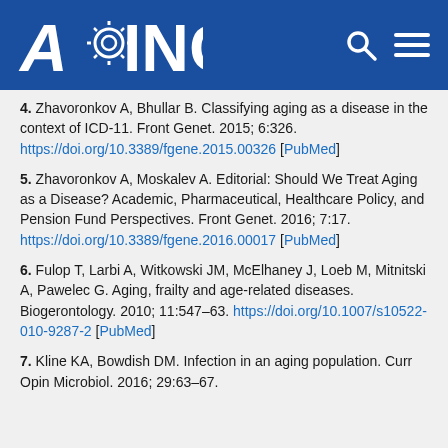AGING
4. Zhavoronkov A, Bhullar B. Classifying aging as a disease in the context of ICD-11. Front Genet. 2015; 6:326. https://doi.org/10.3389/fgene.2015.00326 [PubMed]
5. Zhavoronkov A, Moskalev A. Editorial: Should We Treat Aging as a Disease? Academic, Pharmaceutical, Healthcare Policy, and Pension Fund Perspectives. Front Genet. 2016; 7:17. https://doi.org/10.3389/fgene.2016.00017 [PubMed]
6. Fulop T, Larbi A, Witkowski JM, McElhaney J, Loeb M, Mitnitski A, Pawelec G. Aging, frailty and age-related diseases. Biogerontology. 2010; 11:547–63. https://doi.org/10.1007/s10522-010-9287-2 [PubMed]
7. Kline KA, Bowdish DM. Infection in an aging population. Curr Opin Microbiol. 2016; 29:63–67.